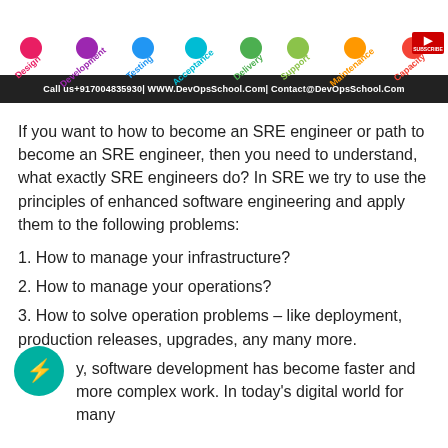[Figure (infographic): DevOps lifecycle banner showing stages: Design, Development, Testing, Acceptance, Delivery, Support, Maintenance, Capacity with colored circular icons and a black bar at bottom showing contact info: Call us+917004835930| WWW.DevOpsSchool.Com| Contact@DevOpsSchool.Com]
If you want to how to become an SRE engineer or path to become an SRE engineer, then you need to understand, what exactly SRE engineers do? In SRE we try to use the principles of enhanced software engineering and apply them to the following problems:
1. How to manage your infrastructure?
2. How to manage your operations?
3. How to solve operation problems – like deployment, production releases, upgrades, any many more.
...y, software development has become faster and more complex work. In today's digital world for many